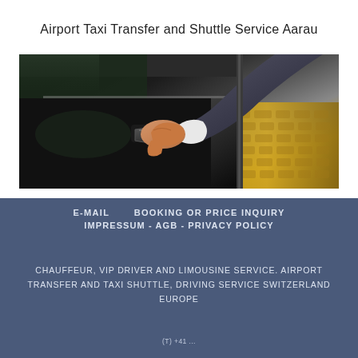Airport Taxi Transfer and Shuttle Service Aarau
[Figure (photo): A chauffeur in a dark suit opening the door of a black luxury car, with cobblestone pavement visible in the background.]
E-MAIL      BOOKING OR PRICE INQUIRY
IMPRESSUM - AGB - PRIVACY POLICY
CHAUFFEUR, VIP DRIVER AND LIMOUSINE SERVICE. AIRPORT TRANSFER AND TAXI SHUTTLE, DRIVING SERVICE SWITZERLAND EUROPE
(T) +41 ...